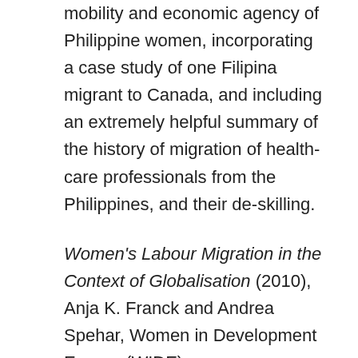mobility and economic agency of Philippine women, incorporating a case study of one Filipina migrant to Canada, and including an extremely helpful summary of the history of migration of health-care professionals from the Philippines, and their de-skilling.
Women's Labour Migration in the Context of Globalisation (2010), Anja K. Franck and Andrea Spehar, Women in Development Europe (WIDE), http://www2.weed-online.org/uploads/women_s_labour_migrati...